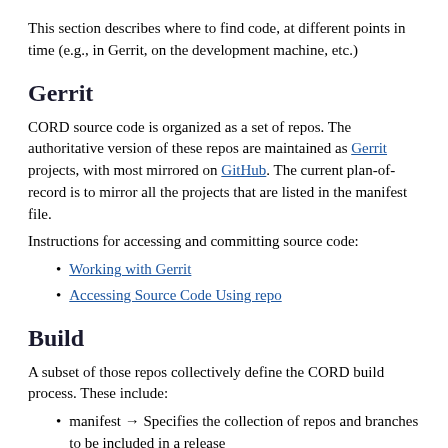This section describes where to find code, at different points in time (e.g., in Gerrit, on the development machine, etc.)
Gerrit
CORD source code is organized as a set of repos. The authoritative version of these repos are maintained as Gerrit projects, with most mirrored on GitHub. The current plan-of-record is to mirror all the projects that are listed in the manifest file.
Instructions for accessing and committing source code:
Working with Gerrit
Accessing Source Code Using repo
Build
A subset of those repos collectively define the CORD build process. These include:
manifest → Specifies the collection of repos and branches to be included in a release